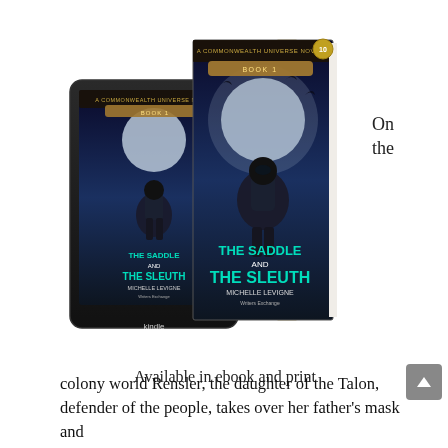On the
[Figure (photo): Book cover image showing 'The Saddle and the Sleuth' by Michelle Levigne, A Commonwealth Universe Novel Book 10, displayed as both a Kindle ebook and a print book. Cover features a futuristic armored figure against a moonlit sky with bats.]
Available in ebook and print
colony world Rensler, the daughter of the Talon, defender of the people, takes over her father's mask and